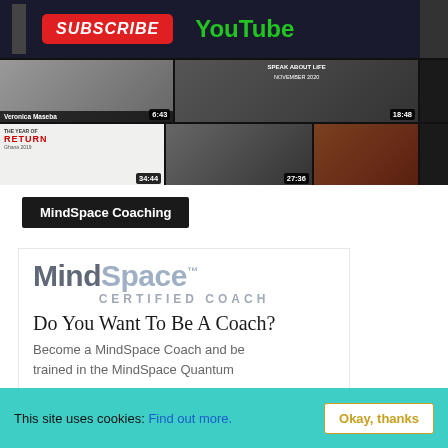[Figure (screenshot): YouTube channel page screenshot showing SUBSCRIBE button, YouTube logo, and video thumbnails including 'The Year of Return Ghana 2019' videos with durations 6:43, 18:48, 34:44, 27:36]
MindSpace Coaching
[Figure (logo): MindSpace Certified Coach logo with text 'Do You Want To Be A Coach?' and 'Become a MindSpace Coach and be trained in the MindSpace Quantum']
This site uses cookies: Find out more. Okay, thanks